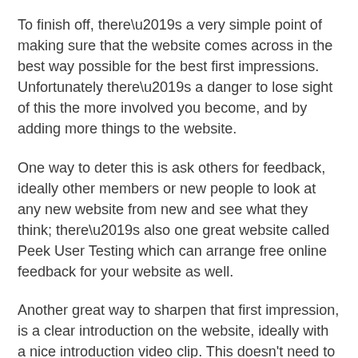To finish off, there’s a very simple point of making sure that the website comes across in the best way possible for the best first impressions. Unfortunately there’s a danger to lose sight of this the more involved you become, and by adding more things to the website.
One way to deter this is ask others for feedback, ideally other members or new people to look at any new website from new and see what they think; there’s also one great website called Peek User Testing which can arrange free online feedback for your website as well.
Another great way to sharpen that first impression, is a clear introduction on the website, ideally with a nice introduction video clip. This doesn't need to be fancy, and ideally would be your main leader or pastor simply honestly taking about what the Church or group stands for, and allowing the true vibe and blessing to be easily communicated to others.